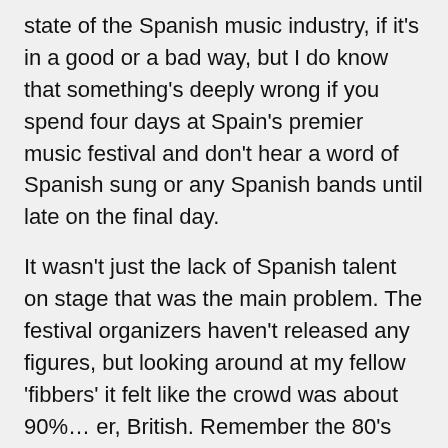state of the Spanish music industry, if it's in a good or a bad way, but I do know that something's deeply wrong if you spend four days at Spain's premier music festival and don't hear a word of Spanish sung or any Spanish bands until late on the final day.
It wasn't just the lack of Spanish talent on stage that was the main problem. The festival organizers haven't released any figures, but looking around at my fellow 'fibbers' it felt like the crowd was about 90%… er, British. Remember the 80's when Brits flocked to the Costa Brava on cheap package holidays only to drink in 'British' pubs, eat in restaurants that served British food and bar-b-q themselves on the beach while reading a copy of The Sun? Well, come to Benichavssim and meet the kids. Attending FIB felt a bit like you were living an unwritten sketch for "Little Brittan Abroad".
At so on from the ...